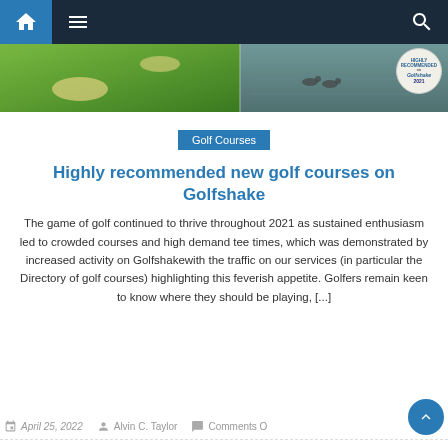Navigation bar with home, menu, and search icons
[Figure (photo): Aerial view of green golf course on left, water scene with ducks on right, with a round award badge in top right corner]
Golf Courses
Highly recommended new golf courses on Golfshake
The game of golf continued to thrive throughout 2021 as sustained enthusiasm led to crowded courses and high demand tee times, which was demonstrated by increased activity on Golfshakewith the traffic on our services (in particular the Directory of golf courses) highlighting this feverish appetite. Golfers remain keen to know where they should be playing, [...]
April 25, 2022  Alvin C. Taylor  Comments O...